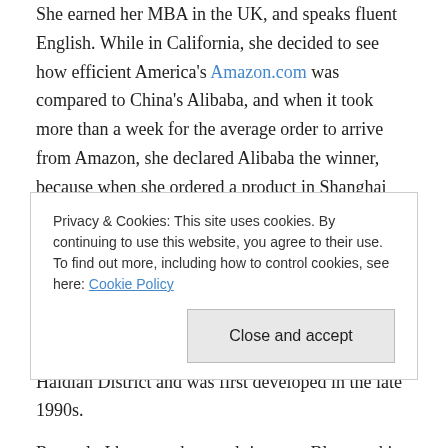She earned her MBA in the UK, and speaks fluent English. While in California, she decided to see how efficient America's Amazon.com was compared to China's Alibaba, and when it took more than a week for the average order to arrive from Amazon, she declared Alibaba the winner, because when she ordered a product in Shanghai through Alibaba in the morning, it was delivered to her front door that same afternoon and without the use of drones.
The rest of this post is mostly about Zhongguancun, China's Silicon Valley, which is located in Beijing's Haidian District and was first developed in the late 1990s.
Privacy & Cookies: This site uses cookies. By continuing to use this website, you agree to their use. To find out more, including how to control cookies, see here: Cookie Policy
Recently I have read several times on Blogs and in Op-Ed